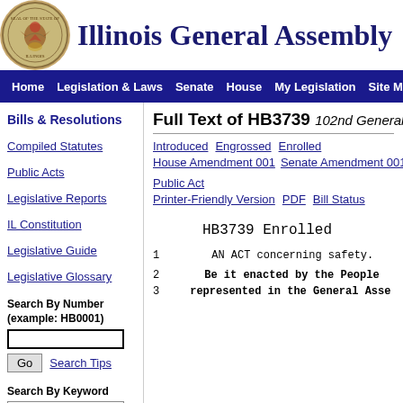Illinois General Assembly
Home | Legislation & Laws | Senate | House | My Legislation | Site Map
Bills & Resolutions
Compiled Statutes
Public Acts
Legislative Reports
IL Constitution
Legislative Guide
Legislative Glossary
Search By Number (example: HB0001)
Search Tips
Search By Keyword
Full Text of HB3739  102nd General Assembly
Introduced  Engrossed  Enrolled
House Amendment 001   Senate Amendment 001  S...
Public Act
Printer-Friendly Version  PDF  Bill Status
HB3739 Enrolled
1     AN ACT concerning safety.
2     Be it enacted by the People
3  represented in the General Asse